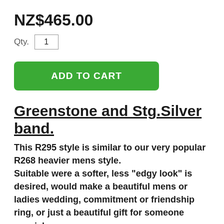NZ$465.00
Qty. 1
ADD TO CART
Greenstone and Stg.Silver band.
This R295 style is similar to our very popular R268 heavier mens style.
Suitable were a softer, less "edgy look" is desired, would make a beautiful mens or ladies wedding, commitment or friendship ring, or just a beautiful gift for someone special.
This design features a solid band with a"comfort curve" on the inside band.
An inlayed strip of New Zealand green stone set